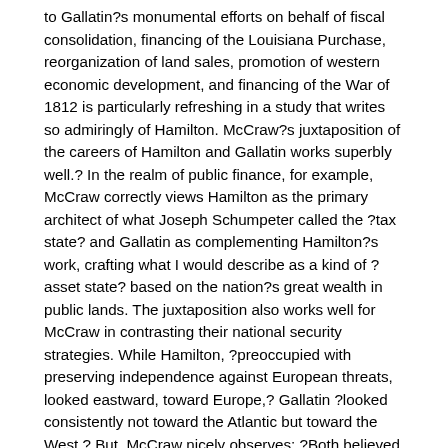to Gallatin?s monumental efforts on behalf of fiscal consolidation, financing of the Louisiana Purchase, reorganization of land sales, promotion of western economic development, and financing of the War of 1812 is particularly refreshing in a study that writes so admiringly of Hamilton. McCraw?s juxtaposition of the careers of Hamilton and Gallatin works superbly well.? In the realm of public finance, for example, McCraw correctly views Hamilton as the primary architect of what Joseph Schumpeter called the ?tax state? and Gallatin as complementing Hamilton?s work, crafting what I would describe as a kind of ?asset state? based on the nation?s great wealth in public lands. The juxtaposition also works well for McCraw in contrasting their national security strategies. While Hamilton, ?preoccupied with preserving independence against European threats, looked eastward, toward Europe,? Gallatin ?looked consistently not toward the Atlantic but toward the West.? But, McCraw nicely observes: ?Both believed that military effectiveness depended on economic strength? (pp. 359-60).? McCraw also appreciates the similarity of their views on the power of credit and the virtues of central banking. And, McCraw suggests looking at the ?American System? of Henry Clay and others as a kind of fusion of Hamilton?s and Gallatin?s policies. Except for its program of tariff protection, the system ?mirrored the policies of both Hamilton and Gallatin? (p. 363). More generally, it reflected their powerful nationalism and their shared belief in the potential of